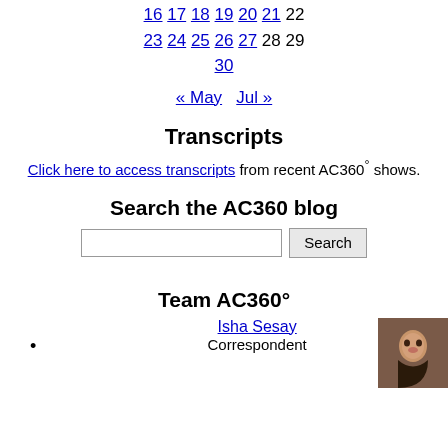16 17 18 19 20 21 22
23 24 25 26 27 28 29
30
« May   Jul »
Transcripts
Click here to access transcripts from recent AC360° shows.
Search the AC360 blog
[Figure (other): Search input box with Search button]
Team AC360°
Isha Sesay Correspondent
[Figure (photo): Photo of Isha Sesay, Correspondent]